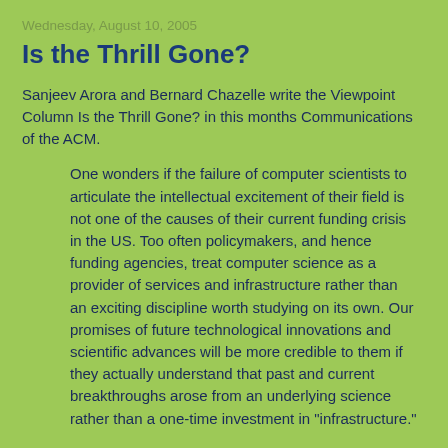Wednesday, August 10, 2005
Is the Thrill Gone?
Sanjeev Arora and Bernard Chazelle write the Viewpoint Column Is the Thrill Gone? in this months Communications of the ACM.
One wonders if the failure of computer scientists to articulate the intellectual excitement of their field is not one of the causes of their current funding crisis in the US. Too often policymakers, and hence funding agencies, treat computer science as a provider of services and infrastructure rather than an exciting discipline worth studying on its own. Our promises of future technological innovations and scientific advances will be more credible to them if they actually understand that past and current breakthroughs arose from an underlying science rather than a one-time investment in "infrastructure."
We think it is high time that the computer science